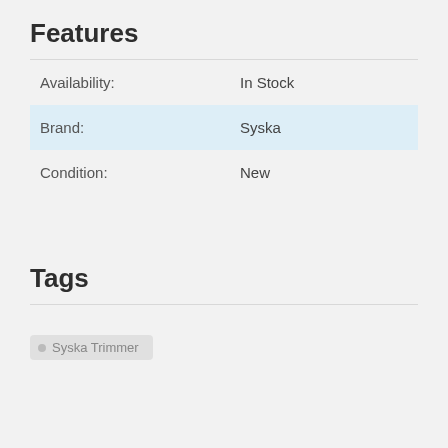Features
| Availability: | In Stock |
| Brand: | Syska |
| Condition: | New |
Tags
Syska Trimmer
Reviews